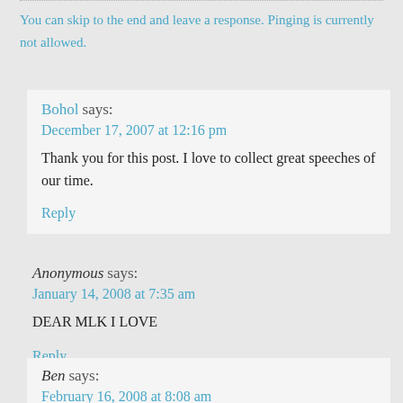You can skip to the end and leave a response. Pinging is currently not allowed.
Bohol says:
December 17, 2007 at 12:16 pm
Thank you for this post. I love to collect great speeches of our time.
Reply
Anonymous says:
January 14, 2008 at 7:35 am
DEAR MLK I LOVE
Reply
Ben says:
February 16, 2008 at 8:08 am